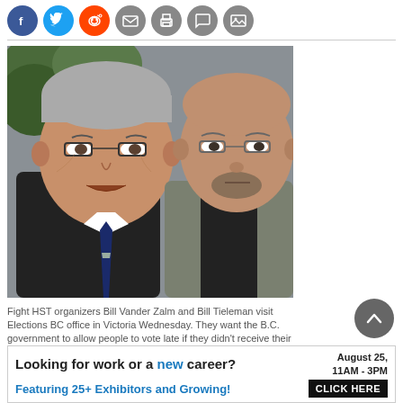[Figure (other): Social media sharing icons row: Facebook (blue), Twitter (light blue), Reddit (orange), Email (grey), Print (grey), Comment (grey), Image/Gallery (grey)]
[Figure (photo): Two men standing together outdoors with trees in background. Left man is older with grey hair and glasses wearing a dark suit with a striped tie. Right man is middle-aged, bald, with a goatee and glasses, wearing a grey jacket over a dark shirt. These are Fight HST organizers Bill Vander Zalm and Bill Tieleman.]
Fight HST organizers Bill Vander Zalm and Bill Tieleman visit Elections BC office in Victoria Wednesday. They want the B.C. government to allow people to vote late if they didn't receive their HST
[Figure (other): Advertisement banner: 'Looking for work or a new career? August 25, 11AM - 3PM. Featuring 25+ Exhibitors and Growing! CLICK HERE']